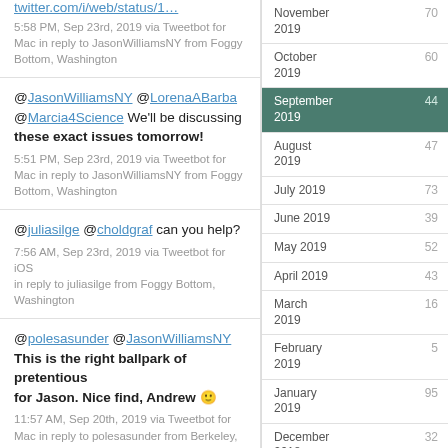twitter.com/i/web/status/1…
5:58 PM, Sep 23rd, 2019 via Tweetbot for Mac in reply to JasonWilliamsNY from Foggy Bottom, Washington
@JasonWilliamsNY @LorenaABarba @Marcia4Science We'll be discussing these exact issues tomorrow!
5:51 PM, Sep 23rd, 2019 via Tweetbot for Mac in reply to JasonWilliamsNY from Foggy Bottom, Washington
@juliasilge @choldgraf can you help?
7:56 AM, Sep 23rd, 2019 via Tweetbot for iOS in reply to juliasilge from Foggy Bottom, Washington
@polesasunder @JasonWilliamsNY This is the right ballpark of pretentious for Jason. Nice find, Andrew 🙂
11:57 AM, Sep 20th, 2019 via Tweetbot for Mac in reply to polesasunder from Berkeley, CA
November 2019 70
October 2019 60
September 2019 44
August 2019 47
July 2019 73
June 2019 39
May 2019 52
April 2019 43
March 2019 16
February 2019 5
January 2019 95
December 2018 32
November 2018 21